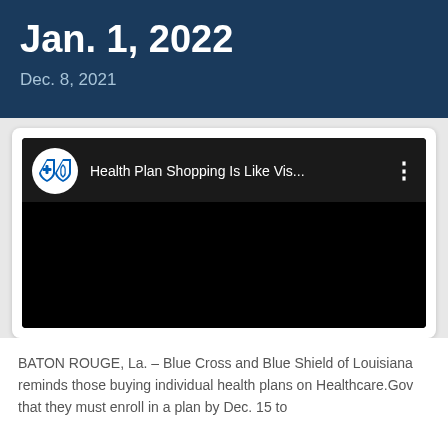Jan. 1, 2022
Dec. 8, 2021
[Figure (screenshot): YouTube-style embedded video player with Blue Cross Blue Shield of Louisiana channel icon and title 'Health Plan Shopping Is Like Vis...' on a black background]
BATON ROUGE, La. – Blue Cross and Blue Shield of Louisiana reminds those buying individual health plans on Healthcare.Gov that they must enroll in a plan by Dec. 15 to